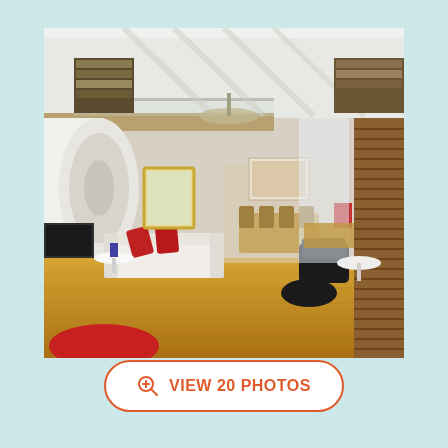[Figure (photo): Interior photo of a modern loft apartment with high white vaulted ceiling with exposed beams, a mezzanine level with bookshelves accessed by a staircase, open plan living room with white sofa with red cushions, Eames lounge chair, wooden floor, dining area in background, and venetian blind window on right.]
VIEW 20 PHOTOS